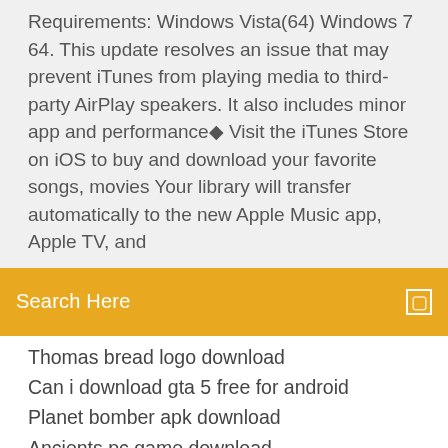Requirements: Windows Vista(64) Windows 7 64. This update resolves an issue that may prevent iTunes from playing media to third-party AirPlay speakers. It also includes minor app and performance◆ Visit the iTunes Store on iOS to buy and download your favorite songs, movies Your library will transfer automatically to the new Apple Music app, Apple TV, and
[Figure (screenshot): Orange search bar with white text 'Search Here' on left and a small white square icon on the right]
Thomas bread logo download
Can i download gta 5 free for android
Planet bomber apk download
Ancients pc game download
All puran in gujarati pdf free download
I love katamari android download
Download gamepass games pc
Windows version cyman mark 2 free crack download
Download foxit phantom pdf
Twitter how to download gifs